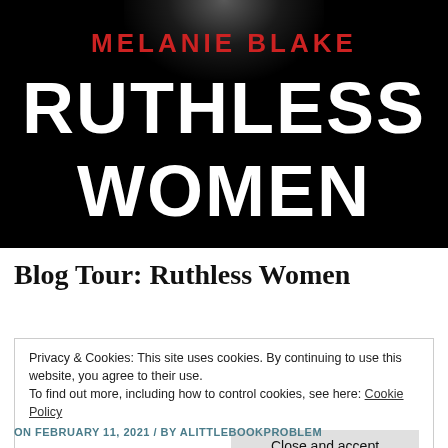[Figure (illustration): Book cover for 'Ruthless Women' by Melanie Blake. Black background with a spotlight effect at the top. Author name 'MELANIE BLAKE' in red text, book title 'RUTHLESS WOMEN' in large white bold text.]
Blog Tour: Ruthless Women
Privacy & Cookies: This site uses cookies. By continuing to use this website, you agree to their use.
To find out more, including how to control cookies, see here: Cookie Policy
Close and accept
ON FEBRUARY 11, 2021 / BY ALITTLEBOOKPROBLEM